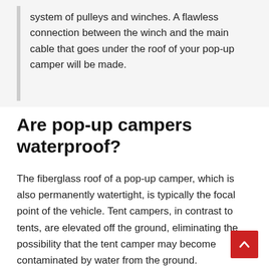system of pulleys and winches. A flawless connection between the winch and the main cable that goes under the roof of your pop-up camper will be made.
Are pop-up campers waterproof?
The fiberglass roof of a pop-up camper, which is also permanently watertight, is typically the focal point of the vehicle. Tent campers, in contrast to tents, are elevated off the ground, eliminating the possibility that the tent camper may become contaminated by water from the ground.